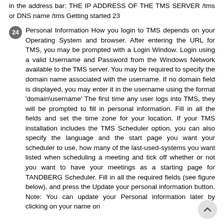in the address bar: THE IP ADDRESS OF THE TMS SERVER /tms or DNS name /tms Getting started 23
24 Personal Information How you login to TMS depends on your Operating System and browser. After entering the URL for TMS, you may be prompted with a Login Window. Login using a valid Username and Password from the Windows Network available to the TMS server. You may be required to specify the domain name associated with the username. If no domain field is displayed, you may enter it in the username using the format 'domain\username' The first time any user logs into TMS, they will be prompted to fill in personal information. Fill in all the fields and set the time zone for your location. If your TMS installation includes the TMS Scheduler option, you can also specify the language and the start page you want your scheduler to use, how many of the last-used-systems you want listed when scheduling a meeting and tick off whether or not you want to have your meetings as a starting page for TANDBERG Scheduler. Fill in all the required fields (see figure below), and press the Update your personal information button. Note: You can update your Personal information later by clicking on your name on